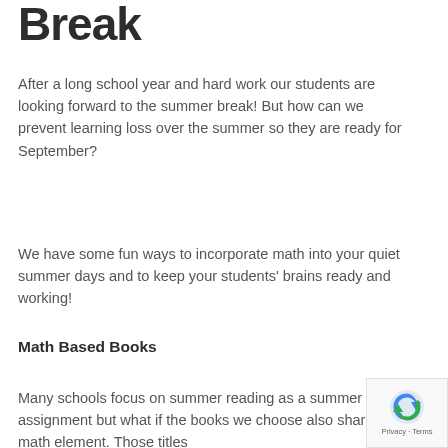Break
After a long school year and hard work our students are looking forward to the summer break! But how can we prevent learning loss over the summer so they are ready for September?
We have some fun ways to incorporate math into your quiet summer days and to keep your students' brains ready and working!
Math Based Books
Many schools focus on summer reading as a summer assignment but what if the books we choose also share a math element. Those titles